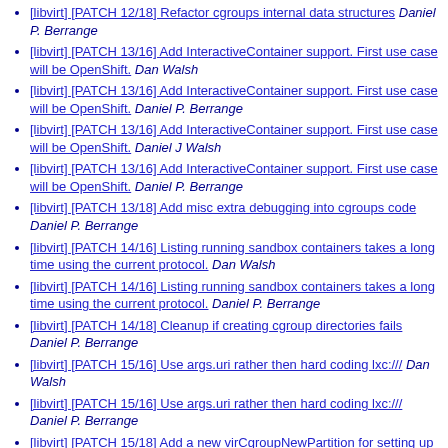[libvirt] [PATCH 12/18] Refactor cgroups internal data structures  Daniel P. Berrange
[libvirt] [PATCH 13/16] Add InteractiveContainer support. First use case will be OpenShift.  Dan Walsh
[libvirt] [PATCH 13/16] Add InteractiveContainer support. First use case will be OpenShift.  Daniel P. Berrange
[libvirt] [PATCH 13/16] Add InteractiveContainer support. First use case will be OpenShift.  Daniel J Walsh
[libvirt] [PATCH 13/16] Add InteractiveContainer support. First use case will be OpenShift.  Daniel P. Berrange
[libvirt] [PATCH 13/18] Add misc extra debugging into cgroups code  Daniel P. Berrange
[libvirt] [PATCH 14/16] Listing running sandbox containers takes a long time using the current protocol.  Dan Walsh
[libvirt] [PATCH 14/16] Listing running sandbox containers takes a long time using the current protocol.  Daniel P. Berrange
[libvirt] [PATCH 14/18] Cleanup if creating cgroup directories fails  Daniel P. Berrange
[libvirt] [PATCH 15/16] Use args.uri rather then hard coding lxc:///  Dan Walsh
[libvirt] [PATCH 15/16] Use args.uri rather then hard coding lxc:///  Daniel P. Berrange
[libvirt] [PATCH 15/18] Add a new virCgroupNewPartition for setting up resource partitions  Daniel P. Berrange